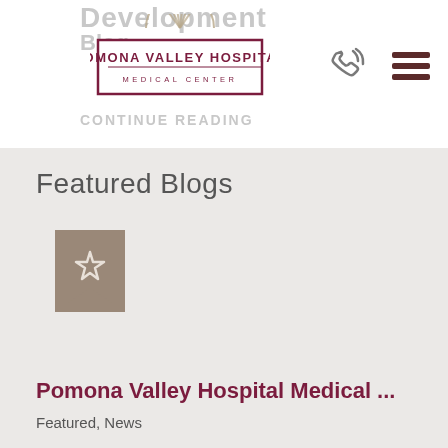Development Blog CONTINUE READING
[Figure (logo): Pomona Valley Hospital Medical Center logo with maroon border and sun emblem]
[Figure (illustration): Phone/call icon]
[Figure (illustration): Hamburger menu icon]
Featured Blogs
[Figure (illustration): Bookmark icon with star on taupe/brown background]
Pomona Valley Hospital Medical ...
Featured, News